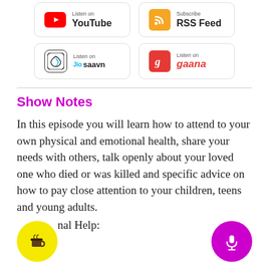[Figure (screenshot): Platform subscription buttons: YouTube (Listen on), RSS Feed (Subscribe), JioSaavn (Listen on), Gaana (Listen on)]
Show Notes
In this episode you will learn how to attend to your own physical and emotional health, share your needs with others, talk openly about your loved one who died or was killed and specific advice on how to pay close attention to your children, teens and young adults.
A___nal Help:
[Figure (illustration): Yellow circular FAB button with coffee cup icon (bottom left)]
[Figure (illustration): Magenta/purple circular FAB button with microphone icon (bottom right)]